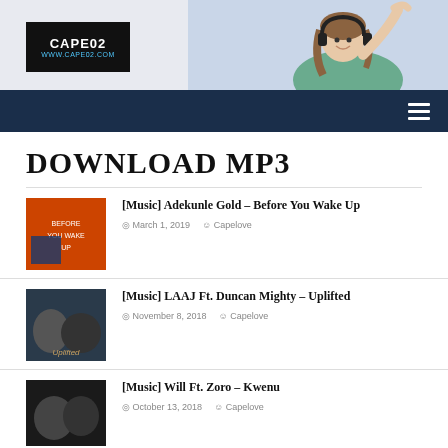[Figure (screenshot): Website header banner with CAPEO2 logo on the left and a woman wearing headphones on the right]
CAPEO2 www.capeo2.com
DOWNLOAD MP3
[Music] Adekunle Gold – Before You Wake Up | March 1, 2019 | Capelove
[Music] LAAJ Ft. Duncan Mighty – Uplifted | November 8, 2018 | Capelove
[Music] Will Ft. Zoro – Kwenu | October 13, 2018 | Capelove